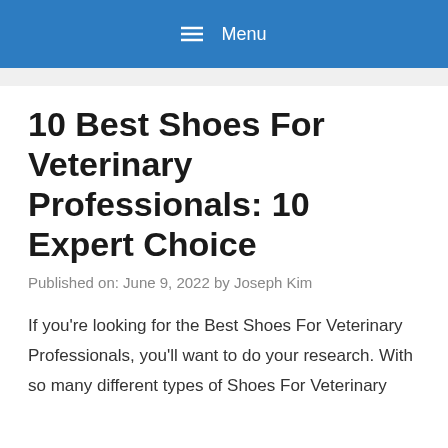≡ Menu
10 Best Shoes For Veterinary Professionals: 10 Expert Choice
Published on: June 9, 2022 by Joseph Kim
If you're looking for the Best Shoes For Veterinary Professionals, you'll want to do your research. With so many different types of Shoes For Veterinary Professionals on the market, it can be